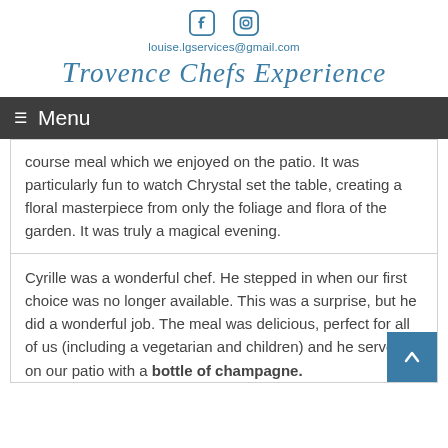[Figure (logo): Social media icons: Facebook and Instagram]
louise.lgservices@gmail.com
Provence Chefs Experience
≡ Menu
course meal which we enjoyed on the patio. It was particularly fun to watch Chrystal set the table, creating a floral masterpiece from only the foliage and flora of the garden. It was truly a magical evening.
Cyrille was a wonderful chef. He stepped in when our first choice was no longer available. This was a surprise, but he did a wonderful job. The meal was delicious, perfect for all of us (including a vegetarian and children) and he served it on our patio with a bottle of champagne.